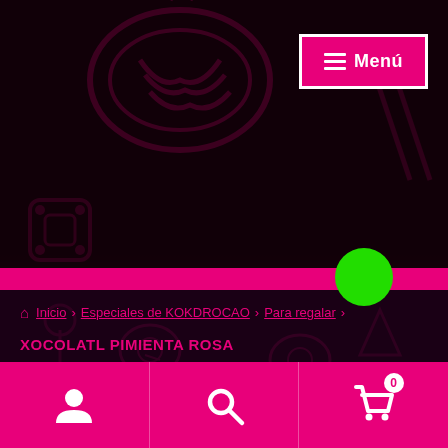[Figure (screenshot): Dark background with pink-glowing food pattern icons (ramen bowl, chopsticks, chocolate pieces, lollipop, etc.) on a near-black background with pink neon lighting effects]
≡ Menú
[Figure (infographic): Horizontal pink bar slider with a bright green circle slider thumb positioned near the right end]
🏠 Inicio › Especiales de KOKDROCAO › Para regalar › XOCOLATL PIMIENTA ROSA
[Figure (infographic): Pink bottom toolbar with three icons: user/account icon, search icon, and shopping cart icon with badge showing 0]